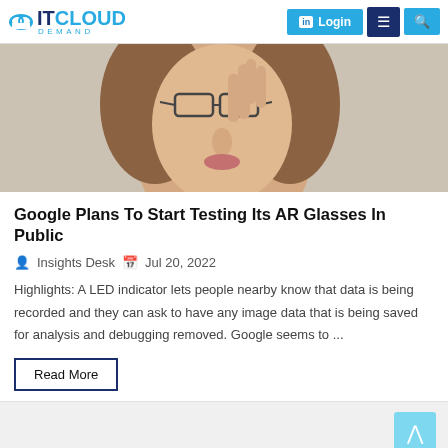IT Cloud Demand — Login | Menu | Search
[Figure (photo): Woman wearing AR glasses, looking upward with a finger raised to her temple, close-up portrait on light background]
Google Plans To Start Testing Its AR Glasses In Public
Insights Desk   Jul 20, 2022
Highlights: A LED indicator lets people nearby know that data is being recorded and they can ask to have any image data that is being saved for analysis and debugging removed. Google seems to ...
Read More